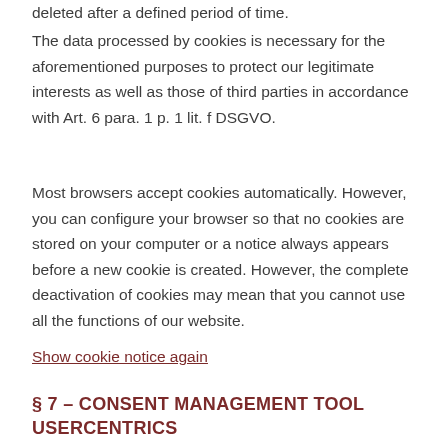deleted after a defined period of time.
The data processed by cookies is necessary for the aforementioned purposes to protect our legitimate interests as well as those of third parties in accordance with Art. 6 para. 1 p. 1 lit. f DSGVO.
Most browsers accept cookies automatically. However, you can configure your browser so that no cookies are stored on your computer or a notice always appears before a new cookie is created. However, the complete deactivation of cookies may mean that you cannot use all the functions of our website.
Show cookie notice again
§ 7 – CONSENT MANAGEMENT TOOL USERCENTRICS